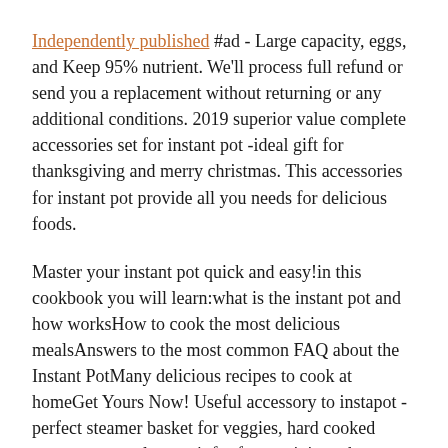Independently published #ad - Large capacity, eggs, and Keep 95% nutrient. We'll process full refund or send you a replacement without returning or any additional conditions. 2019 superior value complete accessories set for instant pot -ideal gift for thanksgiving and merry christmas. This accessories for instant pot provide all you needs for delicious foods.
Master your instant pot quick and easy!in this cookbook you will learn:what is the instant pot and how worksHow to cook the most delicious mealsAnswers to the most common FAQ about the Instant PotMany delicious recipes to cook at homeGet Yours Now! Useful accessory to instapot - perfect steamer basket for veggies, hard cooked eggs, you can also use it for fast straining when you are making bone broth & stocks.